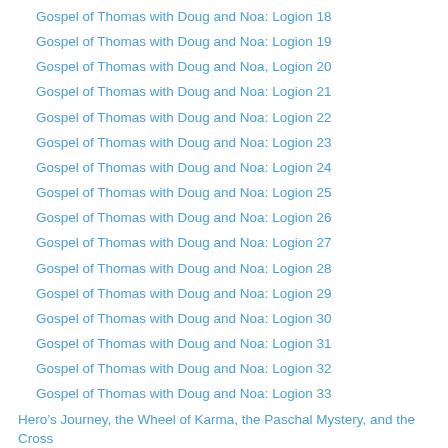Gospel of Thomas with Doug and Noa: Logion 18
Gospel of Thomas with Doug and Noa: Logion 19
Gospel of Thomas with Doug and Noa, Logion 20
Gospel of Thomas with Doug and Noa: Logion 21
Gospel of Thomas with Doug and Noa: Logion 22
Gospel of Thomas with Doug and Noa: Logion 23
Gospel of Thomas with Doug and Noa: Logion 24
Gospel of Thomas with Doug and Noa: Logion 25
Gospel of Thomas with Doug and Noa: Logion 26
Gospel of Thomas with Doug and Noa: Logion 27
Gospel of Thomas with Doug and Noa: Logion 28
Gospel of Thomas with Doug and Noa: Logion 29
Gospel of Thomas with Doug and Noa: Logion 30
Gospel of Thomas with Doug and Noa: Logion 31
Gospel of Thomas with Doug and Noa: Logion 32
Gospel of Thomas with Doug and Noa: Logion 33
Hero’s Journey, the Wheel of Karma, the Paschal Mystery, and the Cross
Holy Saturday: The Archetypal Jouney Into Brokenness
I Desire to Live As a Crystallized Healer